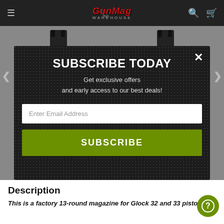GunMag Warehouse
[Figure (screenshot): GunMag Warehouse website with subscription modal popup. Modal has dark textured background, close X button, title SUBSCRIBE TODAY, subtitle text, email input field, and green SUBSCRIBE button.]
SUBSCRIBE TODAY
Get exclusive offers and early access to our best deals!
Enter Email Address
SUBSCRIBE
Description
This is a factory 13-round magazine for Glock 32 and 33 pistols in